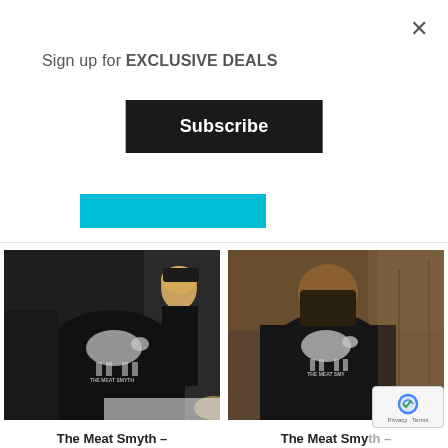Sign up for EXCLUSIVE DEALS
Subscribe
[Figure (photo): The Meat Smyth youth hoodie product photo – person wearing black hoodie with cow diagram graphic and THE MEAT SMYTH branding on back]
The Meat Smyth – YOUTH Hoodie & Crewneck
Starting Price: $35.00
[Figure (photo): The Meat Smyth youth t-shirt product photo – person wearing black shirt with cow diagram and THE MEAT SMYTH branding on back, sepia-toned]
The Meat Smyth – YOUTH T-Shirt &
Starting Price: $21.00